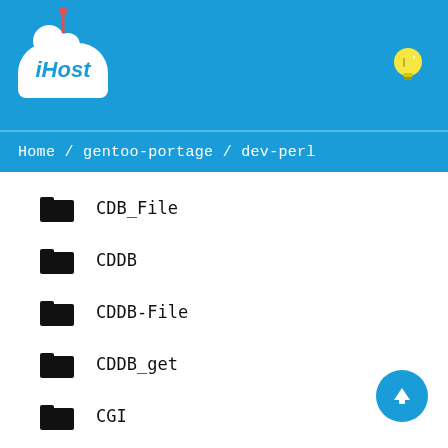iHost
Home / gentoo-portage / dev-perl
CDB_File
CDDB
CDDB-File
CDDB_get
CGI
CGI-Ajax